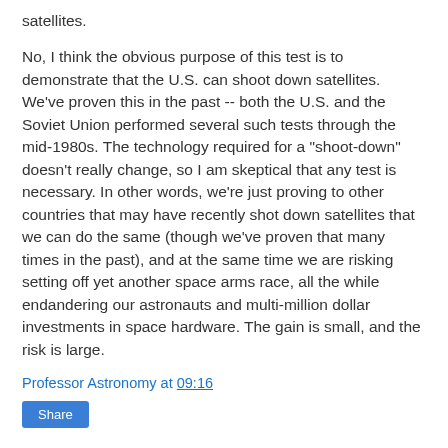satellites.
No, I think the obvious purpose of this test is to demonstrate that the U.S. can shoot down satellites. We've proven this in the past -- both the U.S. and the Soviet Union performed several such tests through the mid-1980s. The technology required for a "shoot-down" doesn't really change, so I am skeptical that any test is necessary. In other words, we're just proving to other countries that may have recently shot down satellites that we can do the same (though we've proven that many times in the past), and at the same time we are risking setting off yet another space arms race, all the while endandering our astronauts and multi-million dollar investments in space hardware. The gain is small, and the risk is large.
Professor Astronomy at 09:16
Share
No comments: